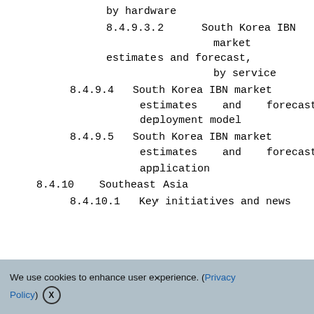by hardware
8.4.9.3.2    South Korea IBN market estimates and forecast, by service
8.4.9.4    South Korea IBN market estimates and forecast, by deployment model
8.4.9.5    South Korea IBN market estimates and forecast, by application
8.4.10    Southeast Asia
8.4.10.1    Key initiatives and news
We use cookies to enhance user experience. (Privacy Policy) X